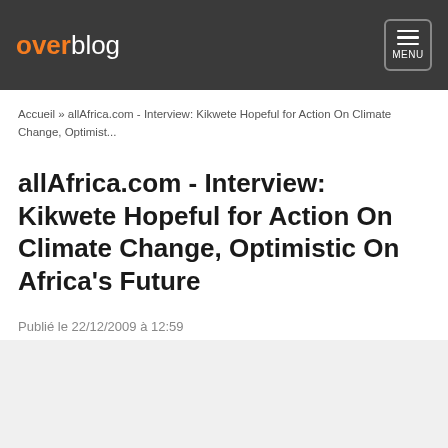overblog MENU
Accueil » allAfrica.com - Interview: Kikwete Hopeful for Action On Climate Change, Optimist...
allAfrica.com - Interview: Kikwete Hopeful for Action On Climate Change, Optimistic On Africa's Future
Publié le 22/12/2009 à 12:59
Par Mamadou Oury Diallo